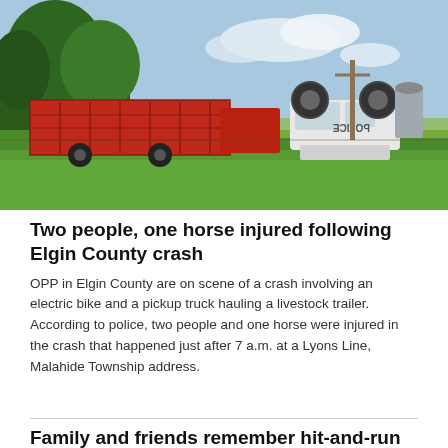[Figure (photo): A news photo showing a overturned white police or emergency vehicle on a grassy field, with a red livestock trailer or fire apparatus in the background, trees, a silo, and a utility pole visible under a partly cloudy sky.]
Two people, one horse injured following Elgin County crash
OPP in Elgin County are on scene of a crash involving an electric bike and a pickup truck hauling a livestock trailer. According to police, two people and one horse were injured in the crash that happened just after 7 a.m. at a Lyons Line, Malahide Township address.
Family and friends remember hit-and-run victim
9 hr ago